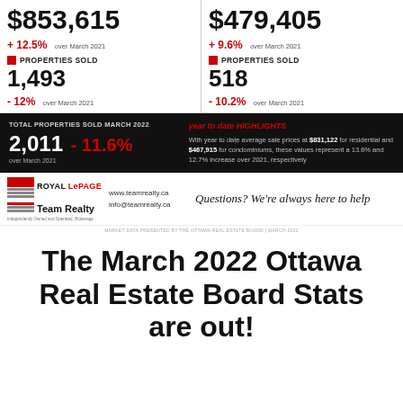$853,615
+ 12.5% over March 2021
PROPERTIES SOLD
1,493
- 12% over March 2021
$479,405
+ 9.6% over March 2021
PROPERTIES SOLD
518
- 10.2% over March 2021
TOTAL PROPERTIES SOLD MARCH 2022
2,011 - 11.6% over March 2021
year to date HIGHLIGHTS
With year to date average sale prices at $831,122 for residential and $467,915 for condominiums, these values represent a 13.6% and 12.7% increase over 2021, respectively
[Figure (logo): Royal LePage Team Realty logo with red and grey stripes]
www.teamrealty.ca
info@teamrealty.ca
Questions? We're always here to help
MARKET DATA PRESENTED BY THE OTTAWA REAL ESTATE BOARD | MARCH 2022
The March 2022 Ottawa Real Estate Board Stats are out!